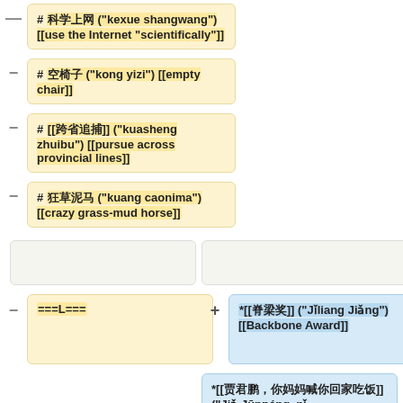# 科学上网 ("kexue shangwang") [[use the Internet "scientifically"]]
# 空椅子 ("kong yizi") [[empty chair]]
# [[跨省追捕]] ("kuasheng zhuibu") [[pursue across provincial lines]]
# 狂草泥马 ("kuang caonima") [[crazy grass-mud horse]]
===L===
*[[脊梁奖]] ("Jǐliang Jiǎng") [[Backbone Award]]
*[[贾君鹏，你妈妈喊你回家吃饭]] ("Jiǎ Jūnpéng, nǐ māma hǎn nǐ huí jiā chī fàn") [[Jiǎ Jūnpéng, your mom is calling you home for dinner]]